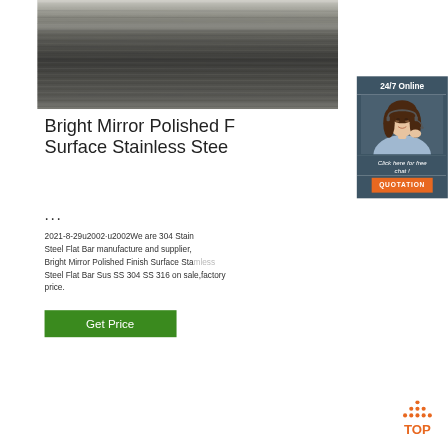[Figure (photo): Close-up photo of bright mirror polished stainless steel flat bar surface showing horizontal metallic lines/reflections in dark grey tones]
[Figure (photo): 24/7 Online chat widget showing a female customer service agent wearing a headset, with 'Click here for free chat!' text and an orange QUOTATION button]
Bright Mirror Polished Finish Surface Stainless Steel ...
2021-8-29u2002·u2002We are 304 Stainless Steel Flat Bar manufacture and supplier, Bright Mirror Polished Finish Surface Stainless Steel Flat Bar Sus SS 304 SS 316 on sale,factory price.
[Figure (other): Orange 'TOP' navigation icon with dotted triangle above the text TOP in orange letters]